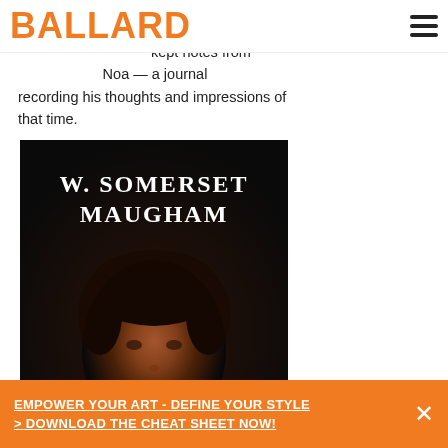BALLARD
magnificent canvases during the first two … kept notes from … Noa — a journal recording his thoughts and impressions of that time.
[Figure (illustration): Book cover showing 'W. SOMERSET MAUGHAM' text in white serif font on a dark/black background, with a portrait of a man with dark curly hair below the title.]
EMPOWER YOUR ART - DEFINE YOUR STYLE
> DOWNLOAD THE CHEAT SHEET NOW!